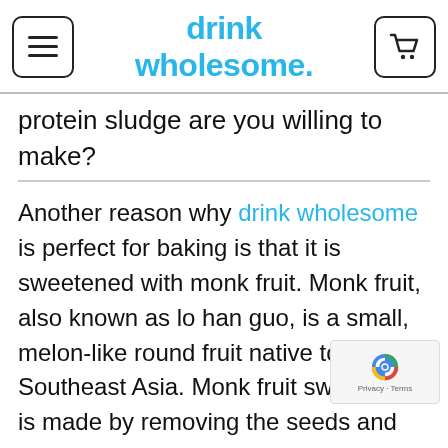drink wholesome.
protein sludge are you willing to make?
Another reason why drink wholesome is perfect for baking is that it is sweetened with monk fruit. Monk fruit, also known as lo han guo, is a small, melon-like round fruit native to Southeast Asia. Monk fruit sweetener is made by removing the seeds and skin, crushing the fruit, and collecting the juice, which is then dried into a powder.
We use monk fruit sweetener because it sweetness similar to that of sugar. Artificial